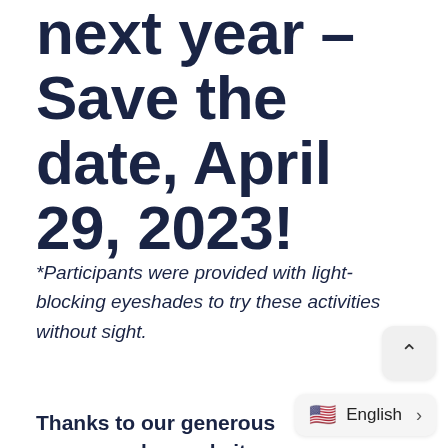next year – Save the date, April 29, 2023!
*Participants were provided with light-blocking eyeshades to try these activities without sight.
Thanks to our generous sponsor who made it